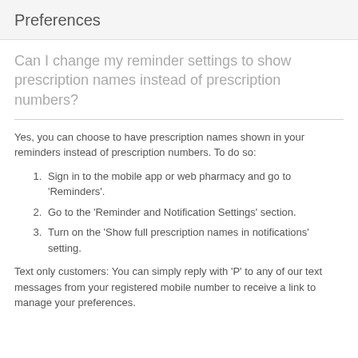Preferences
Can I change my reminder settings to show prescription names instead of prescription numbers?
Yes, you can choose to have prescription names shown in your reminders instead of prescription numbers. To do so:
Sign in to the mobile app or web pharmacy and go to 'Reminders'.
Go to the 'Reminder and Notification Settings' section.
Turn on the 'Show full prescription names in notifications' setting.
Text only customers: You can simply reply with 'P' to any of our text messages from your registered mobile number to receive a link to manage your preferences.